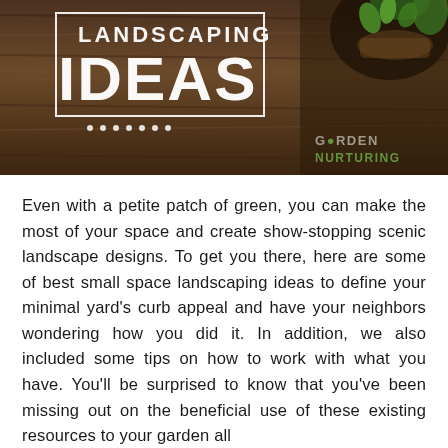[Figure (photo): Banner image showing the text 'LANDSCAPING IDEAS' in white bold letters on a dark wood background, with a plant seedling in a bowl visible in the upper right. The logo 'GARDEN NURTURING' appears in the lower right of the banner.]
Even with a petite patch of green, you can make the most of your space and create show-stopping scenic landscape designs. To get you there, here are some of best small space landscaping ideas to define your minimal yard's curb appeal and have your neighbors wondering how you did it. In addition, we also included some tips on how to work with what you have. You'll be surprised to know that you've been missing out on the beneficial use of these existing resources to your garden all along.